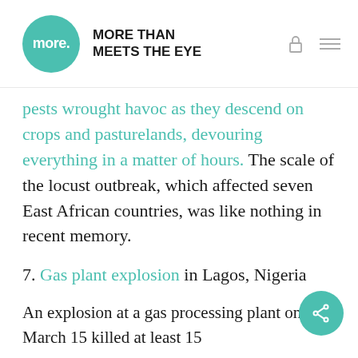more. MORE THAN MEETS THE EYE
pests wrought havoc as they descend on crops and pasturelands, devouring everything in a matter of hours. The scale of the locust outbreak, which affected seven East African countries, was like nothing in recent memory.
7. Gas plant explosion in Lagos, Nigeria
An explosion at a gas processing plant on March 15 killed at least 15 people and led to around about 50